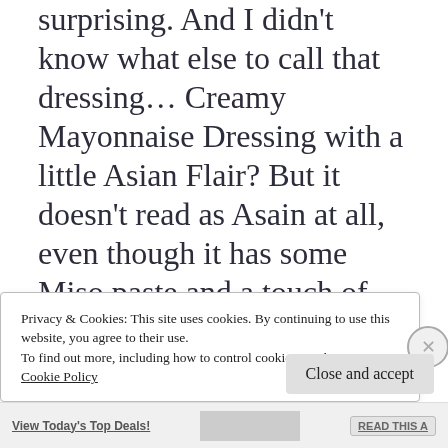surprising. And I didn't know what else to call that dressing… Creamy Mayonnaise Dressing with a little Asian Flair? But it doesn't read as Asain at all, even though it has some Miso paste and a touch of sesame. Both just add a beautiful depth to the dressing. And then it has capers
Privacy & Cookies: This site uses cookies. By continuing to use this website, you agree to their use.
To find out more, including how to control cookies, see here:
Cookie Policy
Close and accept
View Today's Top Deals!